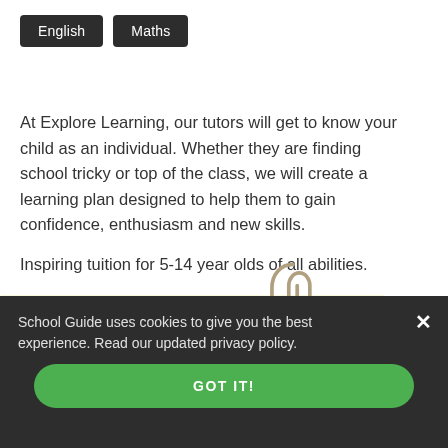English
Maths
At Explore Learning, our tutors will get to know your child as an individual. Whether they are finding school tricky or top of the class, we will create a learning plan designed to help them to gain confidence, enthusiasm and new skills.

Inspiring tuition for 5-14 year olds of all abilities.
Merton, London
School Guide uses cookies to give you the best experience. Read our updated privacy policy.
GOT IT!